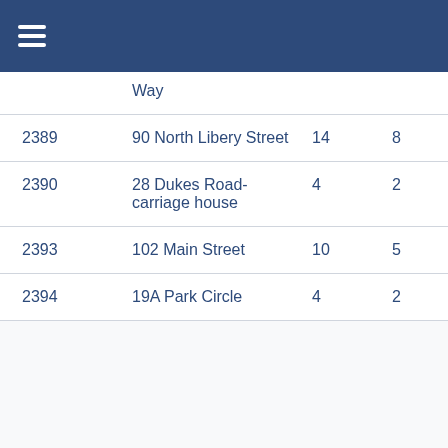Navigation menu header bar
| ID | Address | Col3 | Col4 | Col5 |
| --- | --- | --- | --- | --- |
|  | Way |  |  |  |
| 2389 | 90 North Libery Street | 14 | 8 | 4 |
| 2390 | 28 Dukes Road-carriage house | 4 | 2 | 1.5 |
| 2393 | 102 Main Street | 10 | 5 | 4.5 |
| 2394 | 19A Park Circle | 4 | 2 | 2.5 |